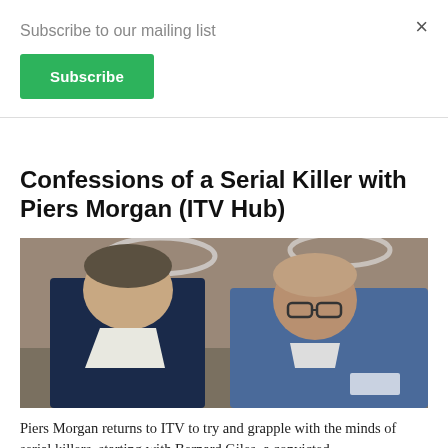Subscribe to our mailing list
Subscribe
×
Confessions of a Serial Killer with Piers Morgan (ITV Hub)
[Figure (photo): Two men standing together. On the left, a man in a dark suit with an open-collar white shirt. On the right, an older bald man wearing glasses and a blue prison-style uniform with a name badge. They appear to be in an institutional setting with lights visible above.]
Piers Morgan returns to ITV to try and grapple with the minds of serial killers, starting with Bernard Giles, a convicted